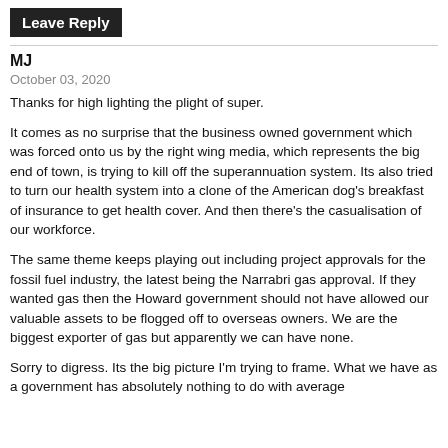Leave Reply
MJ
October 03, 2020
Thanks for high lighting the plight of super.
It comes as no surprise that the business owned government which was forced onto us by the right wing media, which represents the big end of town, is trying to kill off the superannuation system. Its also tried to turn our health system into a clone of the American dog's breakfast of insurance to get health cover. And then there's the casualisation of our workforce.
The same theme keeps playing out including project approvals for the fossil fuel industry, the latest being the Narrabri gas approval. If they wanted gas then the Howard government should not have allowed our valuable assets to be flogged off to overseas owners. We are the biggest exporter of gas but apparently we can have none.
Sorry to digress. Its the big picture I'm trying to frame. What we have as a government has absolutely nothing to do with average